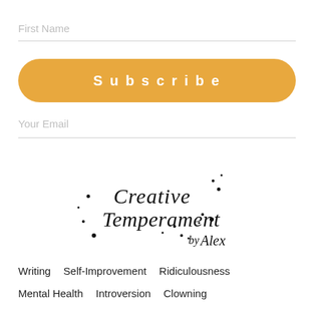First Name
Subscribe
Your Email
[Figure (logo): Creative Temperament by Alex — handwritten script logo with ink splatter decorations]
Writing   Self-Improvement   Ridiculousness
Mental Health   Introversion   Clowning